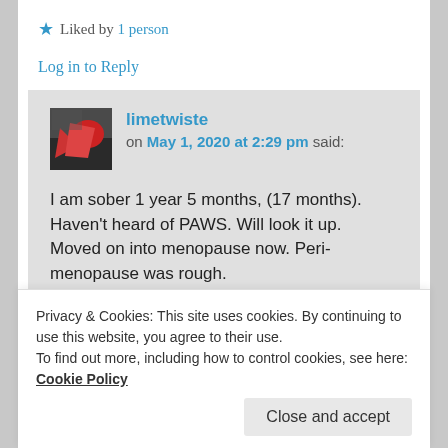★ Liked by 1 person
Log in to Reply
limetwiste on May 1, 2020 at 2:29 pm said:
I am sober 1 year 5 months, (17 months). Haven't heard of PAWS. Will look it up. Moved on into menopause now. Peri-menopause was rough.
I was 2 months free of SSRI. I safely reduced my dosage in 10mg increments
Privacy & Cookies: This site uses cookies. By continuing to use this website, you agree to their use.
To find out more, including how to control cookies, see here: Cookie Policy